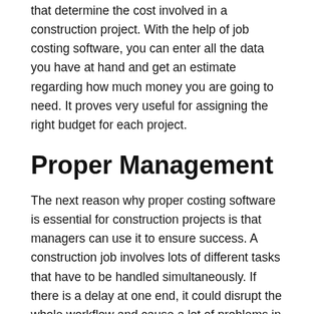that determine the cost involved in a construction project. With the help of job costing software, you can enter all the data you have at hand and get an estimate regarding how much money you are going to need. It proves very useful for assigning the right budget for each project.
Proper Management
The next reason why proper costing software is essential for construction projects is that managers can use it to ensure success. A construction job involves lots of different tasks that have to be handled simultaneously. If there is a delay at one end, it could disrupt the whole workflow and cause a lot of problems in the long run. With the help of software, you can keep track of all the resources that you have, the workers you have assigned to a project, the overall cost of the project, and much more.